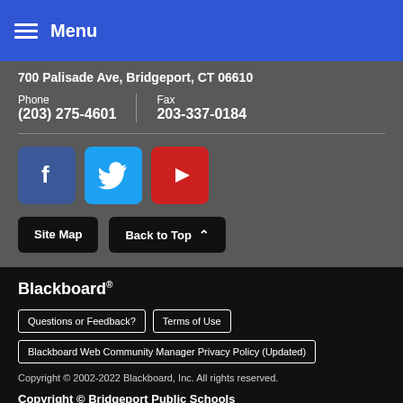Menu
700 Palisade Ave, Bridgeport, CT 06610
Phone
(203) 275-4601
Fax
203-337-0184
[Figure (infographic): Social media icons: Facebook (blue), Twitter (light blue), YouTube (red)]
Site Map
Back to Top
Blackboard®
Questions or Feedback?
Terms of Use
Blackboard Web Community Manager Privacy Policy (Updated)
Copyright © 2002-2022 Blackboard, Inc. All rights reserved.
Copyright © Bridgeport Public Schools